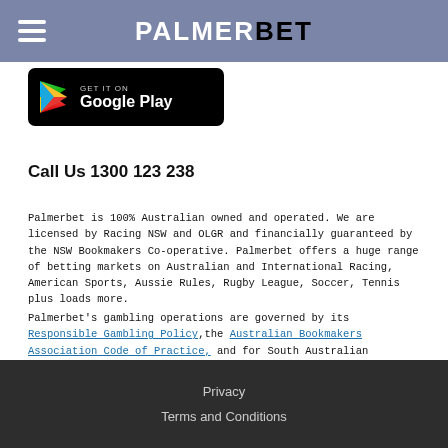PALMERBET
[Figure (logo): Google Play store badge with triangle play icon, text GET IT ON Google Play on black rounded rectangle background]
Call Us 1300 123 238
Palmerbet is 100% Australian owned and operated. We are licensed by Racing NSW and OLGR and financially guaranteed by the NSW Bookmakers Co-operative. Palmerbet offers a huge range of betting markets on Australian and International Racing, American Sports, Aussie Rules, Rugby League, Soccer, Tennis plus loads more.
Palmerbet's gambling operations are governed by its Responsible Gambling Policy,the Australian Bookmakers Association Code of Practice, and for South Australian residents by the South Australian Authorised Betting Operations Gambling Code of Practice. . Help is close at hand. Call Gambler's Help on 1800 858 858 or visit www.gambleaware.nsw.gov.au or www.gamblinghelponline.org.au. You know the score. Stay in control. Gamble Responsibly. 18+
Privacy
Terms and Conditions